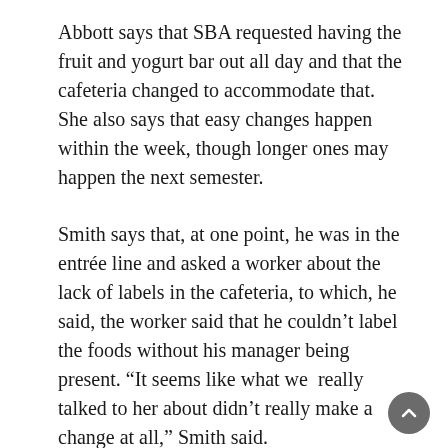Abbott says that SBA requested having the fruit and yogurt bar out all day and that the cafeteria changed to accommodate that. She also says that easy changes happen within the week, though longer ones may happen the next semester.
Smith says that, at one point, he was in the entrée line and asked a worker about the lack of labels in the cafeteria, to which, he said, the worker said that he couldn't label the foods without his manager being present. “It seems like what we  really talked to her about didn’t really make a change at all,” Smith said.
Abbott says that she labels everything, but if an ingredient is substituted from a menu item, she does not include a label. “If you’re not sure what’s in there, just ask one of the employees. If the employee doesn’t know, they’re going to come find one of the supervisors or one of the managers,” Abbott said.